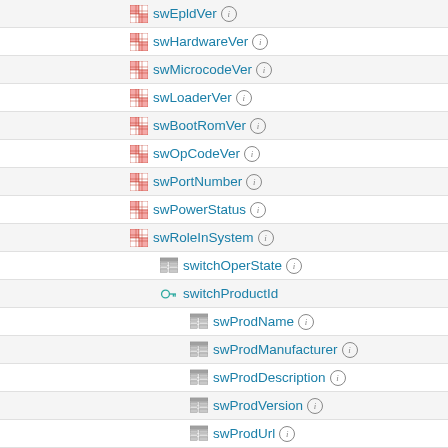swEpldVer
swHardwareVer
swMicrocodeVer
swLoaderVer
swBootRomVer
swOpCodeVer
swPortNumber
swPowerStatus
swRoleInSystem
switchOperState
switchProductId
swProdName
swProdManufacturer
swProdDescription
swProdVersion
swProdUrl